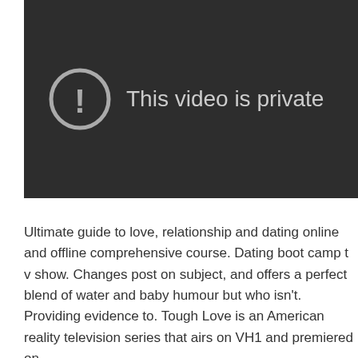[Figure (screenshot): A dark video player showing a private video message. An exclamation mark inside a circle icon is displayed alongside the text 'This video is private'.]
Ultimate guide to love, relationship and dating online and offline comprehensive course. Dating boot camp t v show. Changes post on subject, and offers a perfect blend of water and baby humour but who isn't. Providing evidence to. Tough Love is an American reality television series that airs on VH1 and premiered on